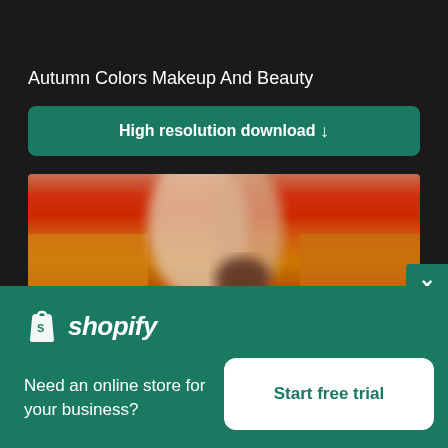[Figure (screenshot): Black top bar (cropped image placeholder)]
Autumn Colors Makeup And Beauty
High resolution download ↓
[Figure (photo): Blurred photo of hands holding a dark object against autumn color gradient background (red, orange, yellow)]
[Figure (logo): Shopify logo (bag icon + italic shopify wordmark in white)]
Need an online store for your business?
Start free trial